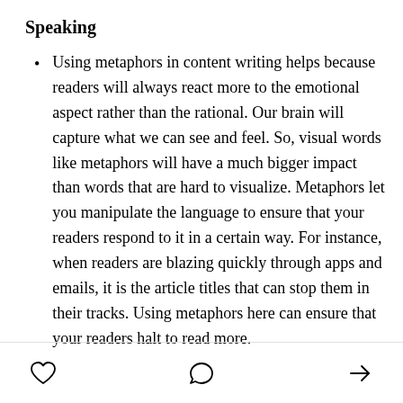Speaking
Using metaphors in content writing helps because readers will always react more to the emotional aspect rather than the rational. Our brain will capture what we can see and feel. So, visual words like metaphors will have a much bigger impact than words that are hard to visualize. Metaphors let you manipulate the language to ensure that your readers respond to it in a certain way. For instance, when readers are blazing quickly through apps and emails, it is the article titles that can stop them in their tracks. Using metaphors here can ensure that your readers halt to read more.
[heart icon] [comment icon] [share icon]